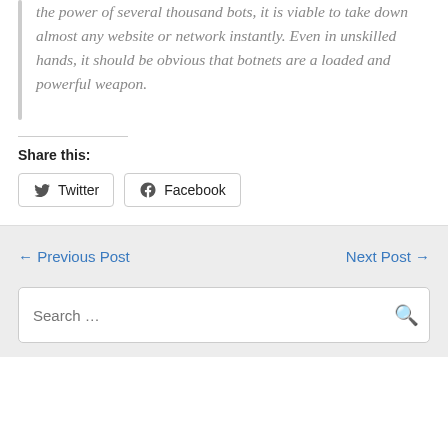the power of several thousand bots, it is viable to take down almost any website or network instantly. Even in unskilled hands, it should be obvious that botnets are a loaded and powerful weapon.
Share this:
Twitter
Facebook
← Previous Post
Next Post →
Search …